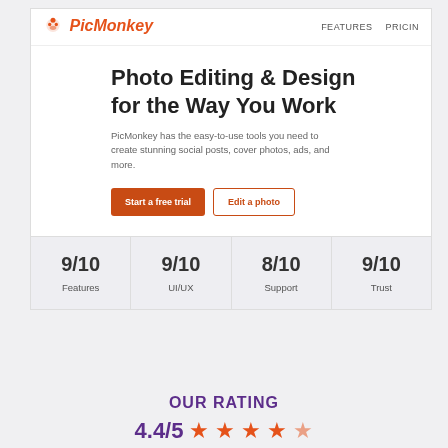[Figure (screenshot): PicMonkey website screenshot showing navigation bar with logo, hero section with title 'Photo Editing & Design for the Way You Work', subtitle text, two CTA buttons, and scores row]
Photo Editing & Design for the Way You Work
PicMonkey has the easy-to-use tools you need to create stunning social posts, cover photos, ads, and more.
| Features | UI/UX | Support | Trust |
| --- | --- | --- | --- |
| 9/10 | 9/10 | 8/10 | 9/10 |
OUR RATING
4.4/5